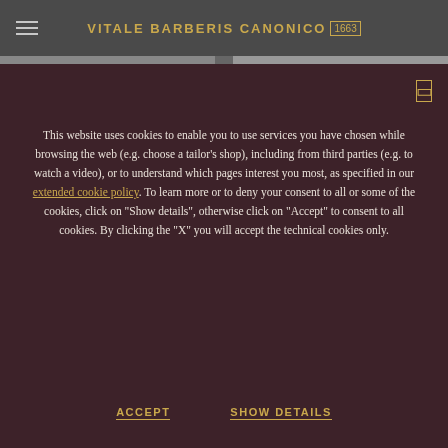VITALE BARBERIS CANONICO 1663
This website uses cookies to enable you to use services you have chosen while browsing the web (e.g. choose a tailor's shop), including from third parties (e.g. to watch a video), or to understand which pages interest you most, as specified in our extended cookie policy. To learn more or to deny your consent to all or some of the cookies, click on "Show details", otherwise click on "Accept" to consent to all cookies. By clicking the "X" you will accept the technical cookies only.
ACCEPT
SHOW DETAILS